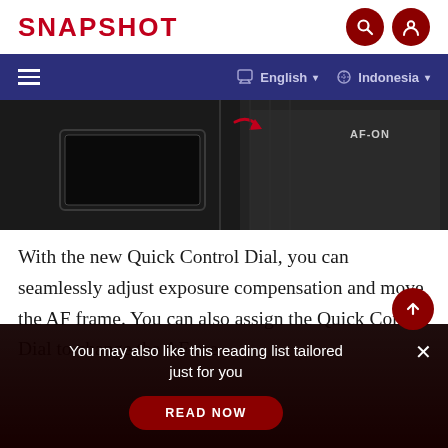SNAPSHOT
[Figure (screenshot): Navigation bar with hamburger menu, English and Indonesia language selectors on dark blue background]
[Figure (photo): Close-up of a camera body showing AF-ON button area with red arrow indicator]
With the new Quick Control Dial, you can seamlessly adjust exposure compensation and move the AF frame. You can also assign the Quick Control Dial to change the AF are
You may also like this reading list tailored just for you
READ NOW